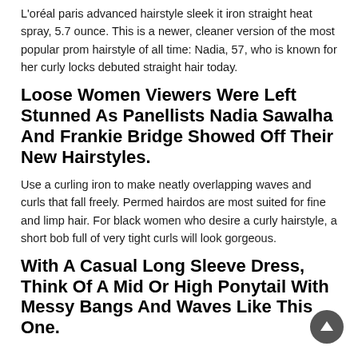L'oréal paris advanced hairstyle sleek it iron straight heat spray, 5.7 ounce. This is a newer, cleaner version of the most popular prom hairstyle of all time: Nadia, 57, who is known for her curly locks debuted straight hair today.
Loose Women Viewers Were Left Stunned As Panellists Nadia Sawalha And Frankie Bridge Showed Off Their New Hairstyles.
Use a curling iron to make neatly overlapping waves and curls that fall freely. Permed hairdos are most suited for fine and limp hair. For black women who desire a curly hairstyle, a short bob full of very tight curls will look gorgeous.
With A Casual Long Sleeve Dress, Think Of A Mid Or High Ponytail With Messy Bangs And Waves Like This One.